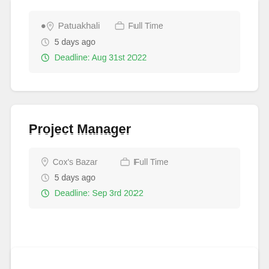Patuakhali   Full Time | 5 days ago | Deadline: Aug 31st 2022
Project Manager
Cox's Bazar   Full Time | 5 days ago | Deadline: Sep 3rd 2022